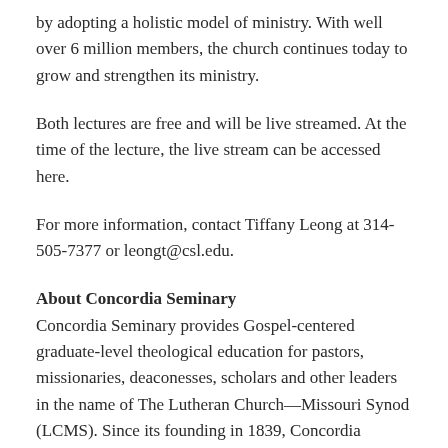by adopting a holistic model of ministry. With well over 6 million members, the church continues today to grow and strengthen its ministry.
Both lectures are free and will be live streamed. At the time of the lecture, the live stream can be accessed here.
For more information, contact Tiffany Leong at 314-505-7377 or leongt@csl.edu.
About Concordia Seminary
Concordia Seminary provides Gospel-centered graduate-level theological education for pastors, missionaries, deaconesses, scholars and other leaders in the name of The Lutheran Church—Missouri Synod (LCMS). Since its founding in 1839, Concordia Seminary has equipped more than 12,000 graduates to